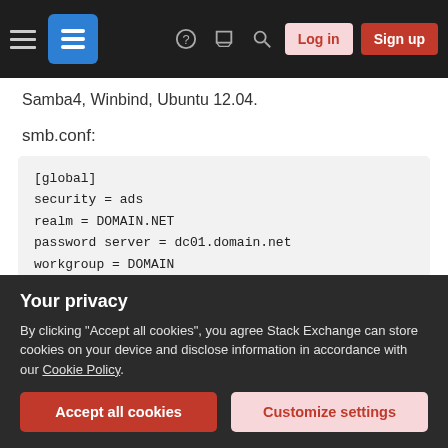Stack Exchange navigation bar with hamburger menu, logo, help, chat, search icons, Log in and Sign up buttons
Samba4, Winbind, Ubuntu 12.04.
smb.conf:
[global]
security = ads
realm = DOMAIN.NET
password server = dc01.domain.net
workgroup = DOMAIN
#idmap uid = 1000-99999
#idmap gid = 1000-99999
idmap config *:backend = tdb
idmap config *:range = 70001-80000
idmap config DOMAIN:backend = ad
Your privacy
By clicking "Accept all cookies", you agree Stack Exchange can store cookies on your device and disclose information in accordance with our Cookie Policy.
Accept all cookies   Customize settings
client use spnego = yes